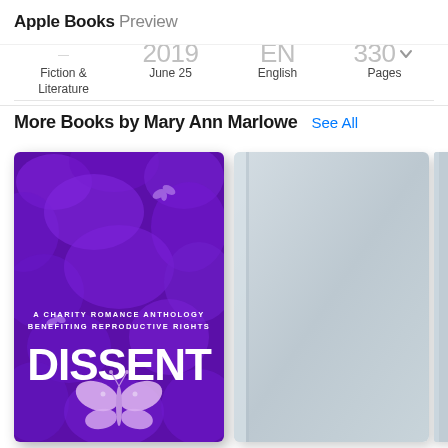Apple Books Preview
| GENRE | RELEASED | LANGUAGE | LENGTH |
| --- | --- | --- | --- |
| Fiction & Literature | June 25 | English | Pages |
More Books by Mary Ann Marlowe   See All
[Figure (illustration): Book cover for 'Dissent: A Charity Romance Anthology Benefiting Reproductive Rights' — purple butterfly/flower background with large white bold text 'DISSENT' and a pink/white butterfly in the foreground.]
[Figure (illustration): Second book cover placeholder — light grey/silver gradient book cover, no title visible.]
[Figure (illustration): Third book cover partially visible — light grey/silver gradient, cropped at page edge.]